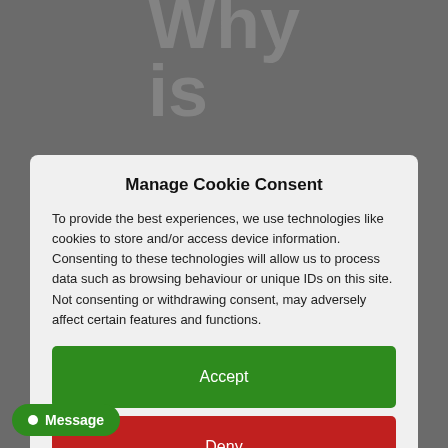Manage Cookie Consent
To provide the best experiences, we use technologies like cookies to store and/or access device information. Consenting to these technologies will allow us to process data such as browsing behaviour or unique IDs on this site. Not consenting or withdrawing consent, may adversely affect certain features and functions.
Accept
Deny
View preferences
Cookie Policy   Privacy Policy
Message